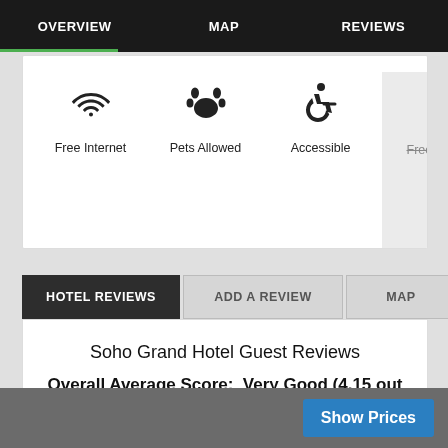OVERVIEW | MAP | REVIEWS
[Figure (screenshot): Hotel amenities icons row: Free Internet (wifi icon), Pets Allowed (paw icon), Accessible (wheelchair icon), Free Breakfast (cup icon, strikethrough text), Free- (partially visible, grayed out)]
HOTEL REVIEWS | ADD A REVIEW | MAP
Soho Grand Hotel Guest Reviews
Overall Average Score:  Very Good (4.15 out of 5)
Show Prices